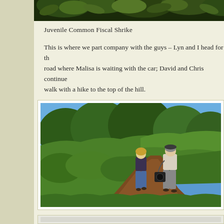[Figure (photo): Top portion of a photo showing green foliage/leaves against a dark background - appears to be a bird photo (Juvenile Common Fiscal Shrike)]
Juvenile Common Fiscal Shrike
This is where we part company with the guys – Lyn and I head for the road where Malisa is waiting with the car; David and Chris continue the walk with a hike to the top of the hill.
[Figure (photo): Two people (a woman in blue jeans and a man with a camera bag) walking away along a dirt trail through green hillside vegetation with trees and blue sky in the background]
[Figure (photo): Partial view of another photo at the bottom of the page, appears light/white]